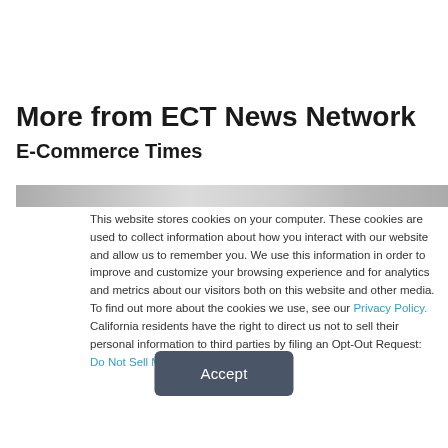More from ECT News Network
E-Commerce Times
[Figure (photo): Partial image strip showing a blurred photo at top of article]
This website stores cookies on your computer. These cookies are used to collect information about how you interact with our website and allow us to remember you. We use this information in order to improve and customize your browsing experience and for analytics and metrics about our visitors both on this website and other media. To find out more about the cookies we use, see our Privacy Policy. California residents have the right to direct us not to sell their personal information to third parties by filing an Opt-Out Request: Do Not Sell My Personal Info.
Accept